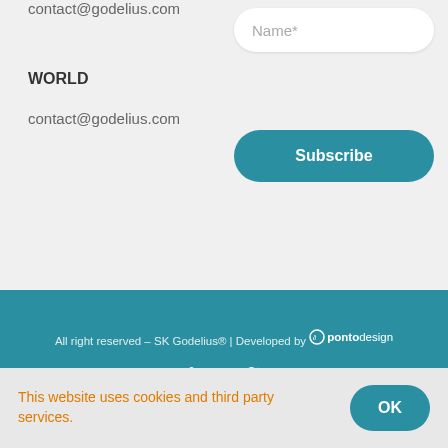contact@godelius.com
Name*
WORLD
contact@godelius.com
Subscribe
All right reserved – SK Godelius® | Developed by pontodesign
[Figure (illustration): LinkedIn and Twitter social media icons in white on teal background]
This website uses cookies and third party services.
OK